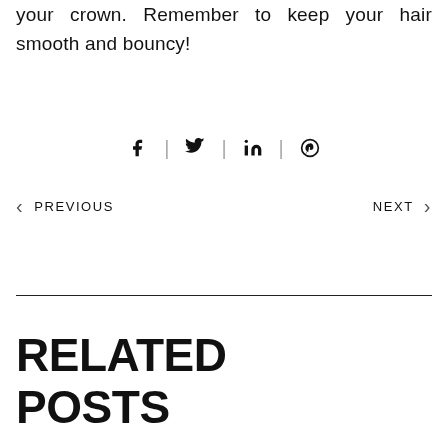your crown. Remember to keep your hair smooth and bouncy!
[Figure (infographic): Social media share icons: Facebook, Twitter, LinkedIn, Pinterest separated by vertical lines]
< PREVIOUS    NEXT >
RELATED POSTS